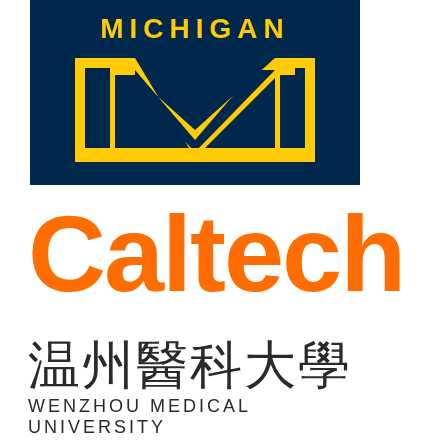[Figure (logo): University of Michigan block M logo — gold M on dark navy blue background with MICHIGAN text above]
[Figure (logo): Caltech wordmark in orange bold sans-serif font]
[Figure (logo): Wenzhou Medical University logo with Chinese characters 温州醫科大學 above English text WENZHOU MEDICAL UNIVERSITY]